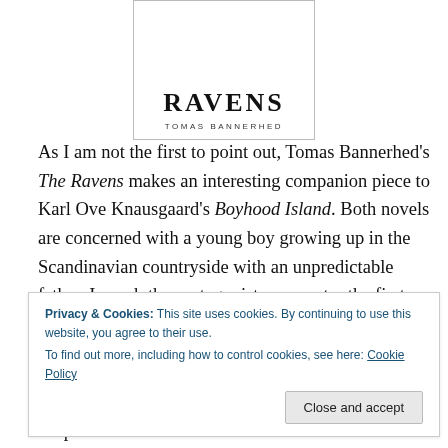[Figure (illustration): Book cover of 'The Ravens' by Tomas Bannerhed, showing stylized raven text and author name]
As I am not the first to point out, Tomas Bannerhed's The Ravens makes an interesting companion piece to Karl Ove Knausgaard's Boyhood Island. Both novels are concerned with a young boy growing up in the Scandinavian countryside with an unpredictable father. In each the protagonists encounter the first stirrings of sexual attraction and the awkwardness of first relationships.
Bannerhed, however, takes a more lyrical approach
Privacy & Cookies: This site uses cookies. By continuing to use this website, you agree to their use. To find out more, including how to control cookies, see here: Cookie Policy
hospitalisation.